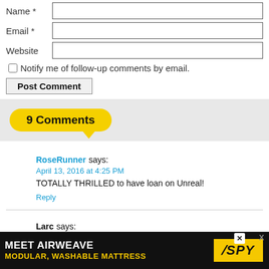Name *
Email *
Website
Notify me of follow-up comments by email.
Post Comment
9 Comments
RoseRunner says:
April 13, 2016 at 4:25 PM
TOTALLY THRILLED to have loan on Unreal!
Reply
Larc says:
April 13, 2016 at 4:29 PM
It will be good to see him on something, but I'm still anon
[Figure (screenshot): MEET AIRWEAVE advertisement banner: black background with yellow text 'MEET AIRWEAVE' and 'MODULAR, WASHABLE MATTRESS', SPY logo in yellow box]